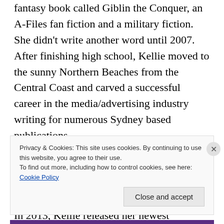fantasy book called Giblin the Conquer, an A-Files fan fiction and a military fiction. She didn't write another word until 2007. After finishing high school, Kellie moved to the sunny Northern Beaches from the Central Coast and carved a successful career in the media/advertising industry writing for numerous Sydney based publications. An aspiring novelist, Kellie fulfilled a dream in 2008 having her first book All She Ever Wanted published by Zeus Publications at the age of 22 years old. In 2013, Kellie released her newest catalogue of books
Privacy & Cookies: This site uses cookies. By continuing to use this website, you agree to their use. To find out more, including how to control cookies, see here: Cookie Policy
Close and accept